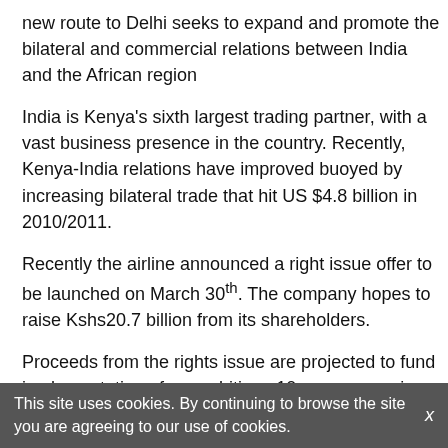new route to Delhi seeks to expand and promote the bilateral and commercial relations between India and the African region
India is Kenya's sixth largest trading partner, with a vast business presence in the country. Recently, Kenya-India relations have improved buoyed by increasing bilateral trade that hit US $4.8 billion in 2010/2011.
Recently the airline announced a right issue offer to be launched on March 30th. The company hopes to raise Kshs20.7 billion from its shareholders.
Proceeds from the rights issue are projected to fund implementation of an ambitious 10-year expansion plan dubbed Project Mawingu; which would see the airline increase it number of destinations from the current 56 to 115 destinations by the year 2021.
ENDS....../
This site uses cookies. By continuing to browse the site you are agreeing to our use of cookies.